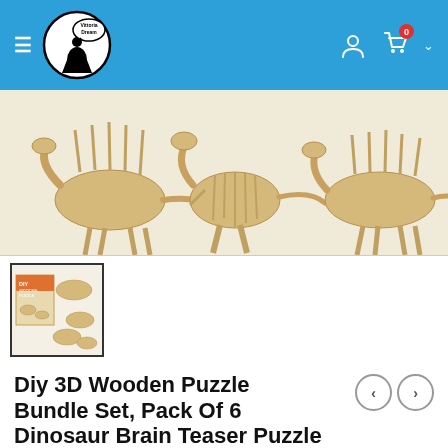Vittoria Dream — navigation header with hamburger menu, logo, user icon, cart icon with badge 0
[Figure (photo): Three assembled wooden 3D dinosaur puzzle models (Spinosaurus, T-Rex, and another dinosaur) arranged side by side against a white/cream background]
[Figure (photo): Thumbnail image showing the DIY Wooden Puzzle product box and several assembled dinosaur models]
Diy 3D Wooden Puzzle Bundle Set, Pack Of 6 Dinosaur Brain Teaser Puzzle Educational Interactive...